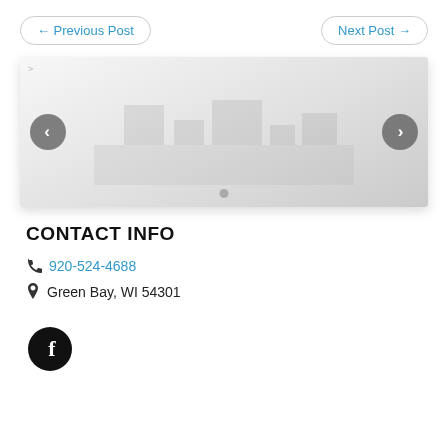← Previous Post
Next Post →
[Figure (photo): Slideshow image carousel with left/right navigation arrows and a dot indicator at the bottom. The image appears to show a faded/light building interior or exterior scene.]
CONTACT INFO
920-524-4688
Green Bay, WI 54301
[Figure (logo): Facebook icon: white letter f on a black circular background.]